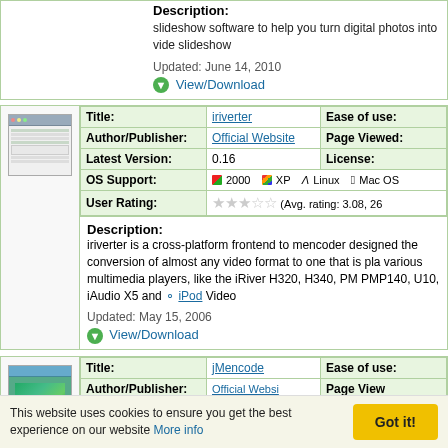Description: slideshow software to help you turn digital photos into video slideshow
Updated: June 14, 2010
View/Download
| Field | Value | Field2 |
| --- | --- | --- |
| Title: | iriverter | Ease of use: |
| Author/Publisher: | Official Website | Page Viewed: |
| Latest Version: | 0.16 | License: |
| OS Support: | 2000 XP Linux Mac OS |  |
| User Rating: | ★★★☆☆ (Avg. rating: 3.08, 26 |  |
Description: iriverter is a cross-platform frontend to mencoder designed the conversion of almost any video format to one that is played by various multimedia players, like the iRiver H320, H340, PM PMP140, U10, iAudio X5 and iPod Video
Updated: May 15, 2006
View/Download
| Field | Value | Field2 |
| --- | --- | --- |
| Title: | jMencode | Ease of use: |
This website uses cookies to ensure you get the best experience on our website More info
Got it!